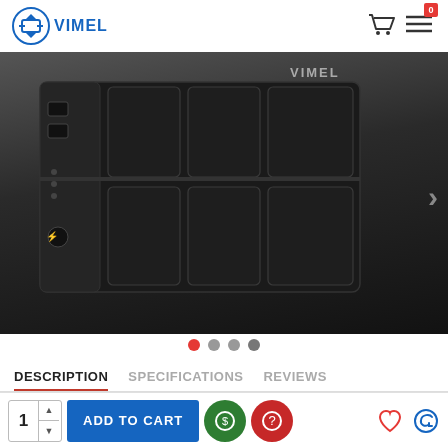[Figure (photo): Product photo of a black rectangular spy voice recorder device with segmented panel design, shown at an angle on white background. VIMEL branding visible in top right of image.]
DESCRIPTION   SPECIFICATIONS   REVIEWS
Long Battery Life Spy Voice Recorder
ADD TO CART